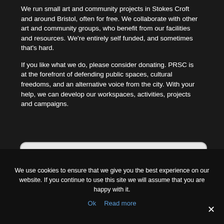We run small art and community projects in Stokes Croft and around Bristol, often for free. We collaborate with other art and community groups, who benefit from our facilities and resources. We're entirely self funded, and sometimes that's hard.

If you like what we do, please consider donating. PRSC is at the forefront of defending public spaces, cultural freedoms, and an alternative voice from the city. With your help, we can develop our workspaces, activities, projects and campaigns.
[Figure (other): PayPal Donate button with payment method icons (Mastercard, Maestro, Visa, Visa Electron, American Express, Direct Debit) on a light grey rounded rectangle background]
We use cookies to ensure that we give you the best experience on our website. If you continue to use this site we will assume that you are happy with it.
Ok   Read more